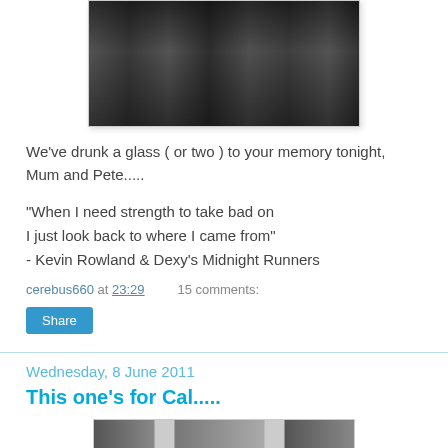[Figure (photo): Black and white photograph of people, partially cropped at top]
We've drunk a glass ( or two ) to your memory tonight, Mum and Pete.....
"When I need strength to take bad on
I just look back to where I came from"
- Kevin Rowland & Dexy's Midnight Runners
cerebus660 at 23:29    15 comments:
Share
Wednesday, 8 June 2011
This one's for Cal.....
[Figure (photo): Partial photograph visible at bottom of page]